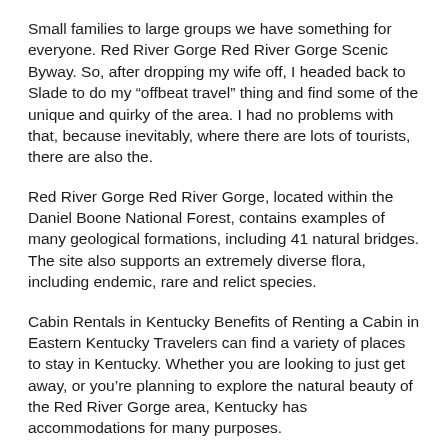Small families to large groups we have something for everyone. Red River Gorge Red River Gorge Scenic Byway. So, after dropping my wife off, I headed back to Slade to do my “offbeat travel” thing and find some of the unique and quirky of the area. I had no problems with that, because inevitably, where there are lots of tourists, there are also the.
Red River Gorge Red River Gorge, located within the Daniel Boone National Forest, contains examples of many geological formations, including 41 natural bridges. The site also supports an extremely diverse flora, including endemic, rare and relict species.
Cabin Rentals in Kentucky Benefits of Renting a Cabin in Eastern Kentucky Travelers can find a variety of places to stay in Kentucky. Whether you are looking to just get away, or you’re planning to explore the natural beauty of the Red River Gorge area, Kentucky has accommodations for many purposes.
Property Types If you Cabin Rentals in Kentucky Read More... Different than “Best of the Red”, which